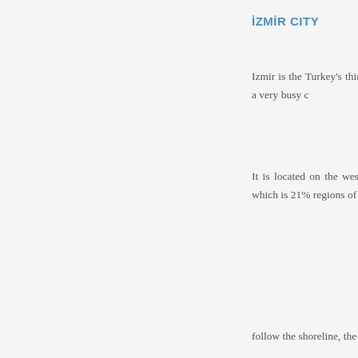İZMİR CITY
Izmir is the Turkey's third most important port.The port is developed and a very busy c…
It is located on the west co… as the Aegean Region. A… 170,000 km2 which is 21%… regions of Turkey.
follow the shoreline, the ci…